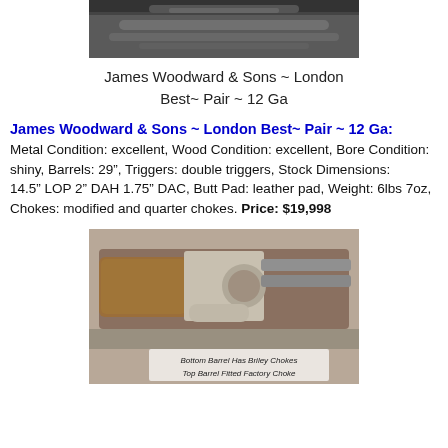[Figure (photo): Close-up photo of the top portion of a side-by-side shotgun, showing barrels and action, partially cropped at top of page]
James Woodward & Sons ~ London
Best~ Pair ~ 12 Ga
James Woodward & Sons ~ London Best~ Pair ~ 12 Ga:
Metal Condition: excellent, Wood Condition: excellent, Bore Condition: shiny, Barrels: 29", Triggers: double triggers, Stock Dimensions:
14.5" LOP 2" DAH 1.75" DAC, Butt Pad: leather pad, Weight: 6lbs 7oz, Chokes: modified and quarter chokes. Price: $19,998
[Figure (photo): Photo of a side-by-side double-barrel shotgun showing the action, stock, and barrels. Text visible at bottom: 'Bottom Barrel Has Briley Chokes' and 'Top Barrel Fitted Factory Choke']